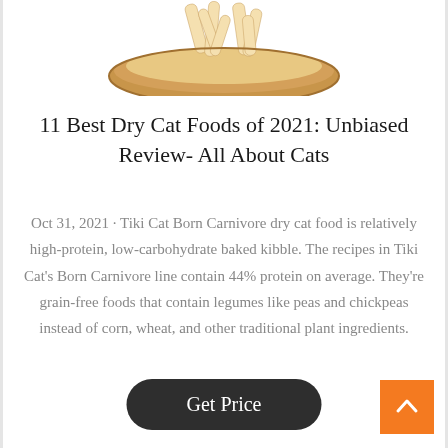[Figure (photo): A wooden bowl filled with dry cat food / kibble pieces, shown from above, cropped at the top of the page.]
11 Best Dry Cat Foods of 2021: Unbiased Review- All About Cats
Oct 31, 2021 · Tiki Cat Born Carnivore dry cat food is relatively high-protein, low-carbohydrate baked kibble. The recipes in Tiki Cat's Born Carnivore line contain 44% protein on average. They're grain-free foods that contain legumes like peas and chickpeas instead of corn, wheat, and other traditional plant ingredients.
Get Price